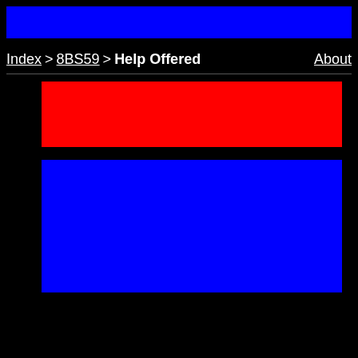[Figure (other): Blue horizontal banner bar at the top of the page]
Index > 8BS59 > Help Offered    About
[Figure (other): Red rectangular block]
[Figure (other): Large blue rectangular block]